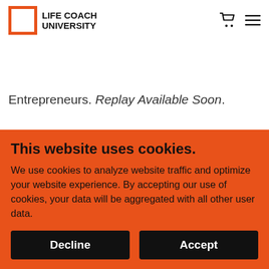[Figure (logo): Life Coach University logo with orange square border and bold black text]
(Business Mindset with Ann and Mindset Coach for Women Entrepreneurs. Replay Available Soon.
March 8, 2022. Creating Your Life On Purpose with Heather Flake, Certified Life Coach. This PIF Talk focuses on "How To Communicate In
This website uses cookies.
We use cookies to analyze website traffic and optimize your website experience. By accepting our use of cookies, your data will be aggregated with all other user data.
Decline
Accept